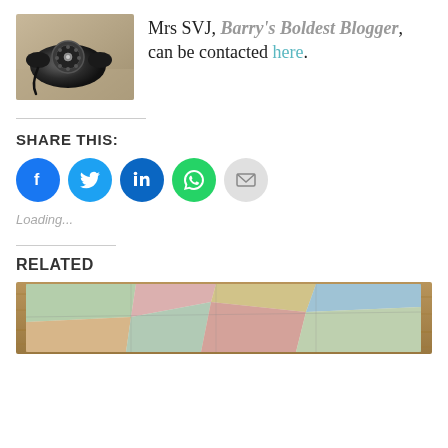[Figure (photo): Black vintage rotary telephone on a light surface, sepia/monochrome tones]
Mrs SVJ, Barry's Boldest Blogger, can be contacted here.
SHARE THIS:
[Figure (infographic): Row of social share icon buttons: Facebook (blue), Twitter (light blue), LinkedIn (dark blue), WhatsApp (green), Email (grey)]
Loading...
RELATED
[Figure (photo): Colorful map or tapestry on a wooden surface, partially visible]